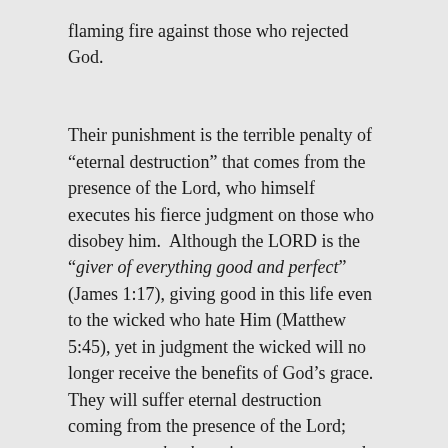flaming fire against those who rejected God.
Their punishment is the terrible penalty of “eterernal destruction” that comes from the presence of the Lord, who himself executes his fierce judgment on those who disobey him. Although the LORD is the “giver of everything good and perfect” (James 1:17), giving good in this life even to the wicked who hate Him (Matthew 5:45), yet in judgment the wicked will no longer receive the benefits of God’s grace. They will suffer eternal destruction coming from the presence of the Lord; every grace that has given sweetness and happiness to their lives, all the light that has illumined their days will go out and they will be handed over to the wrath of God and complete darkness.
Pauline doctrine prefers to refer to hell as “eternal destruction” emphasizing the complete deprivation of every good.